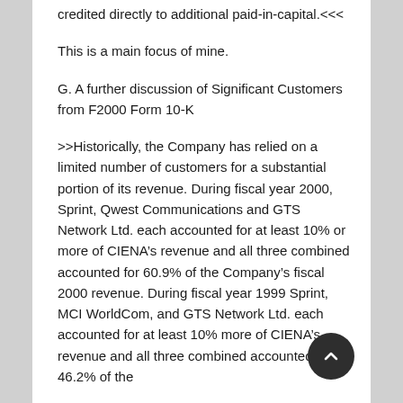credited directly to additional paid-in-capital.<<<
This is a main focus of mine.
G. A further discussion of Significant Customers from F2000 Form 10-K
>>Historically, the Company has relied on a limited number of customers for a substantial portion of its revenue. During fiscal year 2000, Sprint, Qwest Communications and GTS Network Ltd. each accounted for at least 10% or more of CIENA’s revenue and all three combined accounted for 60.9% of the Company’s fiscal 2000 revenue. During fiscal year 1999 Sprint, MCI WorldCom, and GTS Network Ltd. each accounted for at least 10% more of CIENA’s revenue and all three combined accounted for 46.2% of the